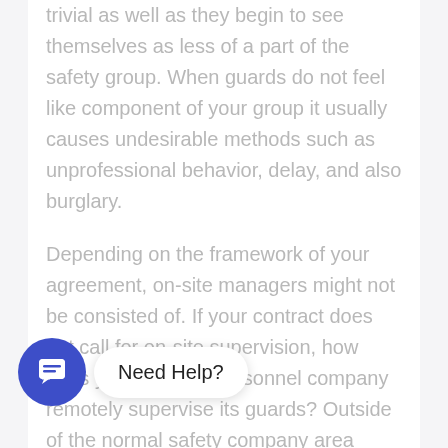trivial as well as they begin to see themselves as less of a part of the safety group. When guards do not feel like component of your group it usually causes undesirable methods such as unprofessional behavior, delay, and also burglary.
Depending on the framework of your agreement, on-site managers might not be consisted of. If your contract does not call for on-site supervision, how does your security personnel company remotely supervise its guards? Outside of the normal safety company area manager spot checks, the two methods of remote supervision that prove most successful
[Figure (other): Chat widget with blue circular icon and 'Need Help?' speech bubble]
1. Officer Scenic Tour Tracking Solutions.